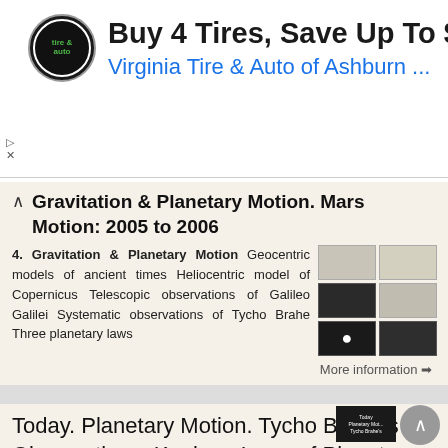[Figure (screenshot): Advertisement banner: tire and auto logo on left, text 'Buy 4 Tires, Save Up To $110' and 'Virginia Tire & Auto of Ashburn ...' in blue, navigation diamond icon on right]
Gravitation & Planetary Motion. Mars Motion: 2005 to 2006
4. Gravitation & Planetary Motion Geocentric models of ancient times Heliocentric model of Copernicus Telescopic observations of Galileo Galilei Systematic observations of Tycho Brahe Three planetary laws
[Figure (screenshot): Grid of 6 small thumbnail images related to planetary motion and gravitation]
More information →
Today. Planetary Motion. Tycho Brahe s Observations. Kepler s Laws of Planetary Motion. Laws of Motion. in physics
Planetary Motion Today Tycho Brahe s Observations Kepler s Laws of Planetary